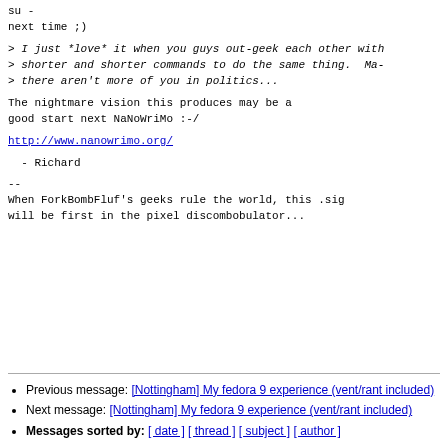su -
next time ;)
> I just *love* it when you guys out-geek each other with
> shorter and shorter commands to do the same thing.  Ma-
> there aren't more of you in politics...
The nightmare vision this produces may be a
good start next NaNoWriMo :-/
http://www.nanowrimo.org/
- Richard
--
When ForkBombFluf's geeks rule the world, this .sig
will be first in the pixel discombobulator...
Previous message: [Nottingham] My fedora 9 experience (vent/rant included)
Next message: [Nottingham] My fedora 9 experience (vent/rant included)
Messages sorted by: [ date ] [ thread ] [ subject ] [ author ]